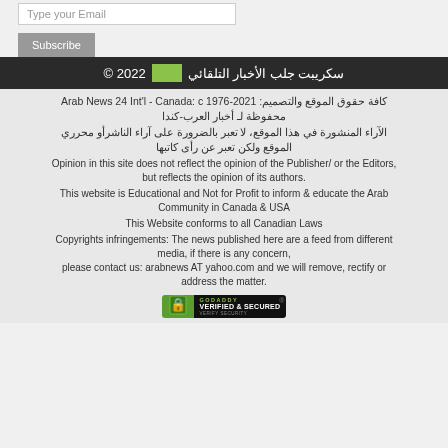Type your Email
Subscribe
سكريبت جلب الأخبار التلقائي © 2022
كافة حقوق الموقع والتصميم: Arab News 24 Int'l - Canada: c 1976-2021 محفوظة لـ أخبار العرب-كندا
الآراء المنشورة في هذا الموقع، لا تعبر بالضرورة على آراء الناشرأو محرري الموقع ولكن تعبر عن رأى كاتبها
Opinion in this site does not reflect the opinion of the Publisher/ or the Editors, but reflects the opinion of its authors.
This website is Educational and Not for Profit to inform & educate the Arab Community in Canada & USA
This Website conforms to all Canadian Laws
Copyrights infringements: The news published here are a feed from different media, if there is any concern, please contact us: arabnews AT yahoo.com and we will remove, rectify or address the matter.
[Figure (logo): GoDaddy Verified & Secured badge]